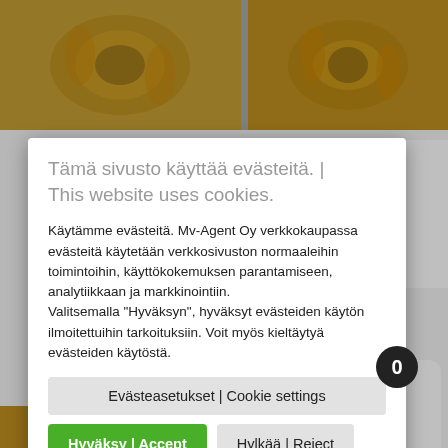[Figure (screenshot): Screenshot of a Finnish e-commerce product page showing brass pipe fittings, partially obscured by a cookie consent dialog. Two product images visible at top. Right side shows partial product title with bold text including 'met', 'cin', 'diä. 1"', 'teellä.' and a green 'ostoskoriin' (add to cart) button. Bottom right shows cart icon with 0 badge and a reCAPTCHA badge.]
Tämä sivusto käyttää evästeitä. | This website uses cookies.
Käytämme evästeitä. Mv-Agent Oy verkkokaupassa evästeitä käytetään verkkosivuston normaaleihin toimintoihin, käyttökokemuksen parantamiseen, analytiikkaan ja markkinointiin. Valitsemalla "Hyväksyn", hyväksyt evästeiden käytön ilmoitettuihin tarkoituksiin. Voit myös kieltäytyä evästeiden käytöstä.
Evästeasetukset | Cookie settings
Hyväksy | Accept
Hylkää | Reject